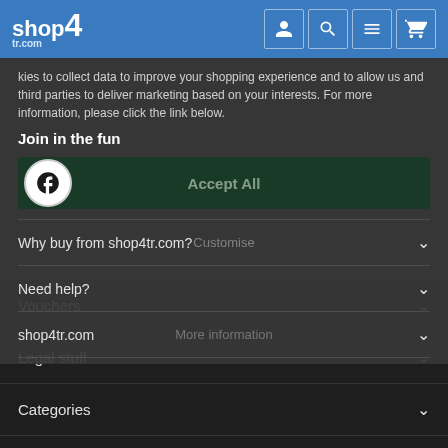shop4tr.com
kies to collect data to improve your shopping experience and to allow us and third parties to deliver marketing based on your interests. For more information, please click the link below.
Join in the fun
[Figure (screenshot): Facebook button with Accept All overlay and Customise text]
Why buy from shop4tr.com?
Need help?
shop4tr.com
Vouchers
Legal stuff
Categories
Trending now